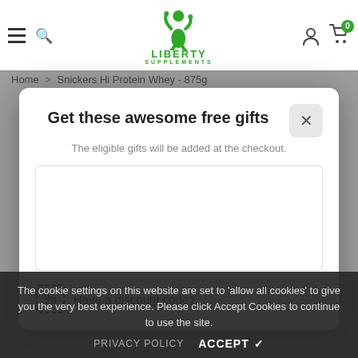[Figure (logo): Liberty Supplements green logo with muscular figure icon and text LIBERTY SUPPLEMENTS]
Home > Snickers Hi Protein Whey - 875g
Get these awesome free gifts
The eligible gifts will be added at the checkout.
Have a discount code?
The cookie settings on this website are set to 'allow all cookies' to give you the very best experience. Please click Accept Cookies to continue to use the site.
PRIVACY POLICY   ACCEPT ✔